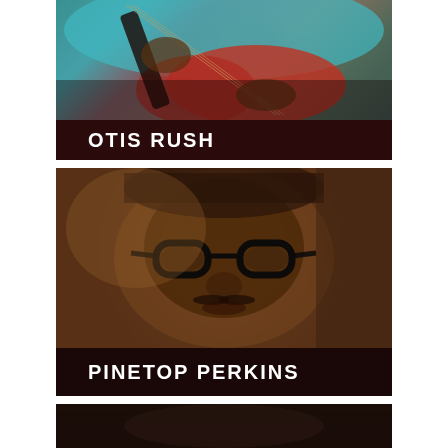[Figure (photo): Photo of Otis Rush playing a red electric guitar, wearing a teal/turquoise shirt. Close-up of hands on guitar neck and body.]
OTIS RUSH
[Figure (photo): Close-up sepia/black-and-white portrait of Pinetop Perkins wearing thick black-rimmed glasses, elderly man with mustache.]
PINETOP PERKINS
[Figure (photo): Partial photo at bottom of page, dark image, third blues artist card partially visible.]